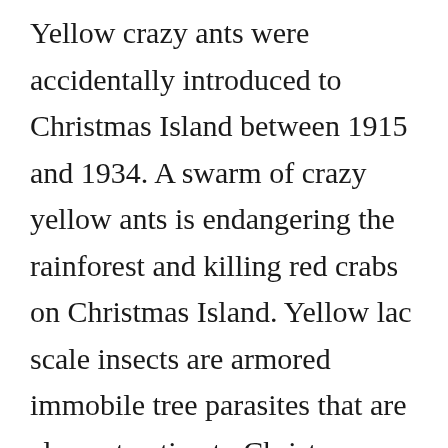Yellow crazy ants were accidentally introduced to Christmas Island between 1915 and 1934. A swarm of crazy yellow ants is endangering the rainforest and killing red crabs on Christmas Island. Yellow lac scale insects are armored immobile tree parasites that are also not native to Christmas Island. The Yellow Crazy Ant is thought to have been introduced to Christmas Island Australia between the years of 1915 and 1930 by a produce of building material car⊗ ship from either